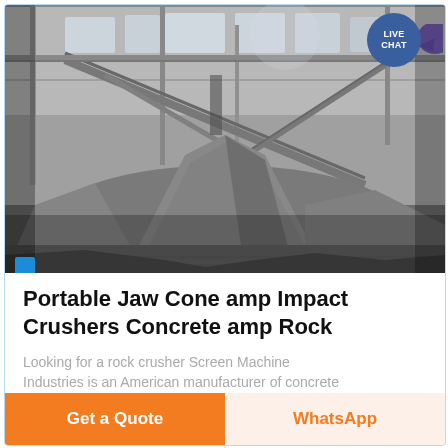[Figure (photo): Industrial warehouse interior with large piles of crushed rock/aggregate material on the floor, conveyor belts and steel framework overhead, black and white tones]
Portable Jaw Cone amp Impact Crushers Concrete amp Rock
Looking for a rock crusher Screen Machine Industries is an American manufacturer of concrete
Get a Quote
WhatsApp